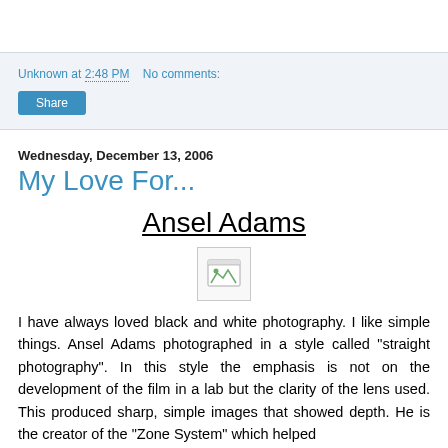Unknown at 2:48 PM    No comments:
Share
Wednesday, December 13, 2006
My Love For...
Ansel Adams
[Figure (photo): Broken image placeholder icon]
I have always loved black and white photography.  I like simple things.  Ansel Adams photographed in a style called "straight photography".  In this style the emphasis is not on the development of the film in a lab but the clarity of the lens used.  This produced sharp, simple images that showed depth.  He is the creator of the "Zone System" which helped